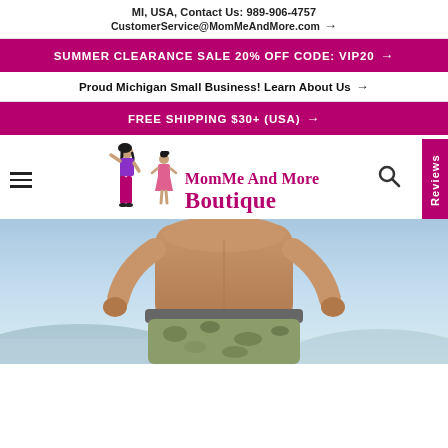MI, USA, Contact Us: 989-906-4757 CustomerService@MomMeAndMore.com →
SUMMER CLEARANCE SALE 20% OFF CODE: VIP20 →
Proud Michigan Small Business! Learn About Us →
FREE SHIPPING $30+ (USA) →
[Figure (logo): MomMe And More Boutique logo with stylized mother and daughter figures in pink/magenta colors]
[Figure (photo): Person viewed from behind standing in beach/outdoor setting wearing camouflage swim trunks, sky and mountains in background]